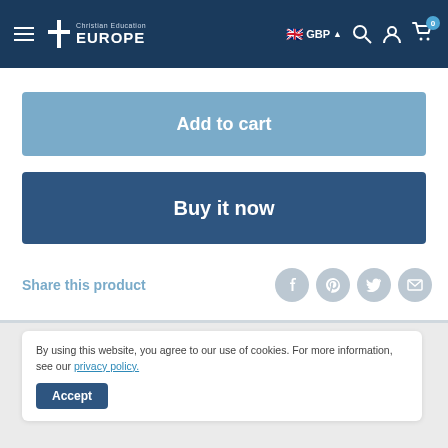Christian Education EUROPE | GBP | 0
Add to cart
Buy it now
Share this product
By using this website, you agree to our use of cookies. For more information, see our privacy policy.
Accept
A study of liabilities (current and long-term),